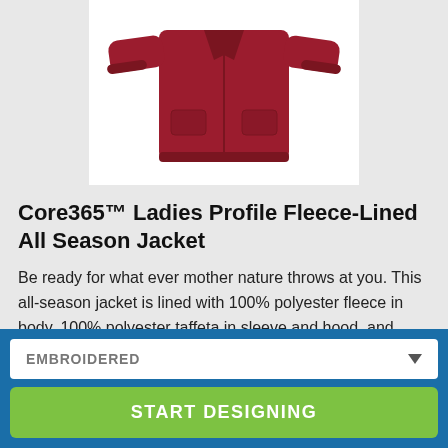[Figure (photo): Red ladies full-zip fleece-lined jacket product photo on white background]
Core365™ Ladies Profile Fleece-Lined All Season Jacket
Be ready for what ever mother nature throws at you. This all-season jacket is lined with 100% polyester fleece in body, 100% polyester taffeta in sleeve and hood, and 60gsm thermal polyfill insulation in sleeves. The shell is made of
EMBROIDERED
START DESIGNING